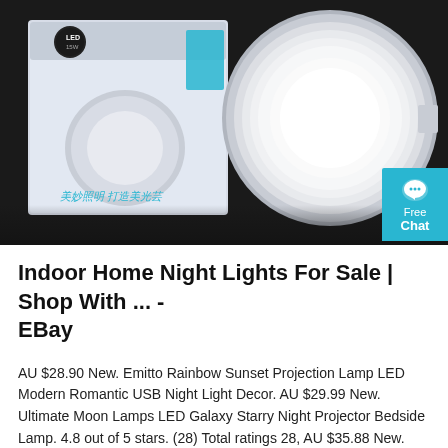[Figure (photo): Product photo of a round white LED panel light next to its retail box on a dark background. A teal 'Free Chat' badge is visible on the right side.]
Indoor Home Night Lights For Sale | Shop With ... - EBay
AU $28.90 New. Emitto Rainbow Sunset Projection Lamp LED Modern Romantic USB Night Light Decor. AU $29.99 New. Ultimate Moon Lamps LED Galaxy Starry Night Projector Bedside Lamp. 4.8 out of 5 stars. (28) Total ratings 28, AU $35.88 New. MDI Lil Dreamers Unicorn Silicone Soft Touch Rechargeable LED Night Light Lamp.